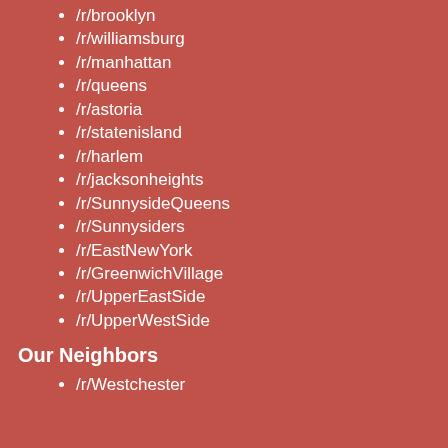/r/brooklyn
/r/williamsburg
/r/manhattan
/r/queens
/r/astoria
/r/statenisland
/r/harlem
/r/jacksonheights
/r/SunnysideQueens
/r/Sunnysiders
/r/EastNewYork
/r/GreenwichVillage
/r/UpperEastSide
/r/UpperWestSide
Our Neighbors
/r/Westchester